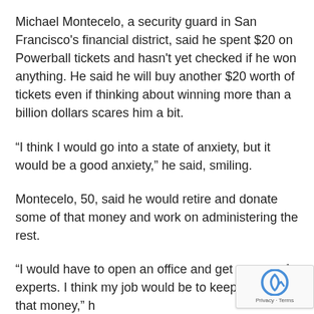Michael Montecelo, a security guard in San Francisco's financial district, said he spent $20 on Powerball tickets and hasn't yet checked if he won anything. He said he will buy another $20 worth of tickets even if thinking about winning more than a billion dollars scares him a bit.
“I think I would go into a state of anxiety, but it would be a good anxiety,” he said, smiling.
Montecelo, 50, said he would retire and donate some of that money and work on administering the rest.
“I would have to open an office and get a team of experts. I think my job would be to keep tabs on that money,” h… “That would be a full-time job.”